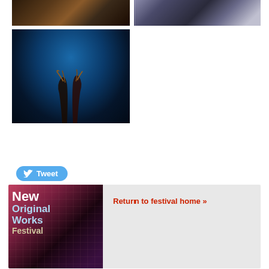[Figure (photo): Photo of performer with dark feathered costume, top left]
[Figure (photo): Photo of performer or audience at event, top right]
[Figure (photo): Blue-lit stage photo with two figures silhouetted against blue light]
[Figure (screenshot): Tweet button with Twitter bird icon]
[Figure (illustration): New Original Works Festival poster image]
Return to festival home »